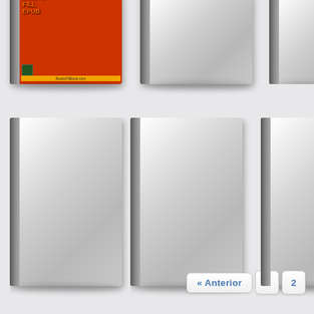[Figure (illustration): Book cover with orange/red design and 'BooksFillEpub.com' text visible]
[Figure (illustration): Blank gray book cover, top row center]
[Figure (illustration): Blank gray book cover, top row right (partially visible)]
[Figure (illustration): Blank gray book cover, bottom row left]
[Figure (illustration): Blank gray book cover, bottom row center]
[Figure (illustration): Blank gray book cover, bottom row right (partially visible)]
« Anterior  1  2